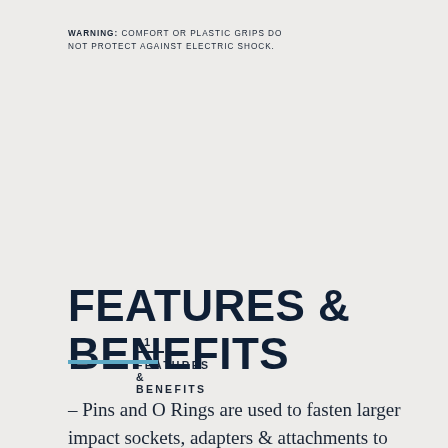WARNING: COMFORT OR PLASTIC GRIPS DO NOT PROTECT AGAINST ELECTRIC SHOCK.
01
FEATURES & BENEFITS
FEATURES & BENEFITS
- Pins and O Rings are used to fasten larger impact sockets, adapters & attachments to